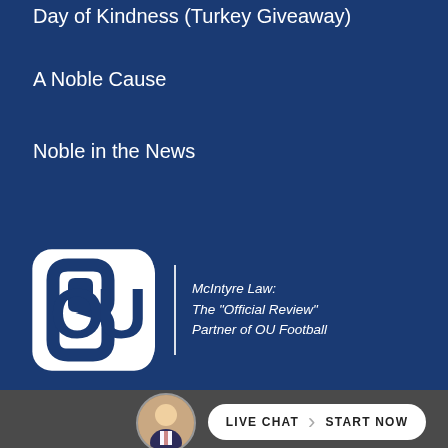Day of Kindness (Turkey Giveaway)
A Noble Cause
Noble in the News
[Figure (logo): OU logo with vertical divider and text: McIntyre Law: The “Official Review” Partner of OU Football]
FOLLOW US
[Figure (infographic): Social media icons: Facebook, Twitter, Instagram, YouTube, LinkedIn]
[Figure (photo): Circular avatar photo of a man in a suit]
LIVE CHAT › START NOW